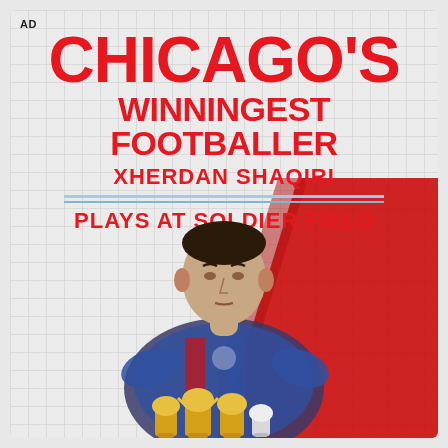AD
CHICAGO'S WINNINGEST FOOTBALLER
XHERDAN SHAQIRI
PLAYS AT SOLDIER FIELD
[Figure (photo): Xherdan Shaqiri player photo with red swoosh background and golden trophies at bottom]